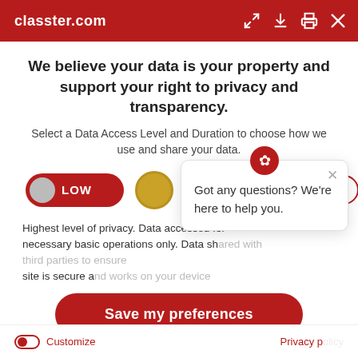classter.com
We believe your data is your property and support your right to privacy and transparency.
Select a Data Access Level and Duration to choose how we use and share your data.
[Figure (infographic): Data access level selector showing LOW toggle (active, red), medium (yellow circle), high (purple circle), and a 6 months duration dropdown]
Highest level of privacy. Data accessed for necessary basic operations only. Data sh... site is secure a...
Got any questions? We're here to help you.
Save my preferences
Customize   Privacy p...